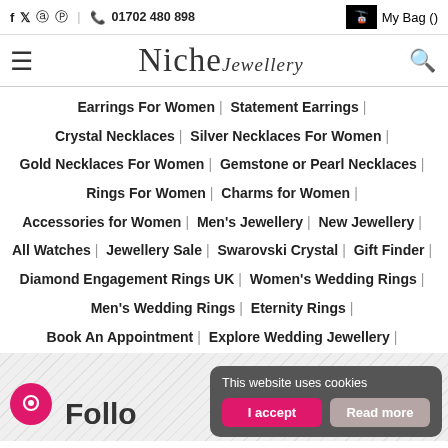f  tw  p  ig  |  01702 480 898    My Bag ()
[Figure (logo): Niche Jewellery logo with hamburger menu and search icon]
Earrings For Women | Statement Earrings | Crystal Necklaces | Silver Necklaces For Women | Gold Necklaces For Women | Gemstone or Pearl Necklaces | Rings For Women | Charms for Women | Accessories for Women | Men's Jewellery | New Jewellery | All Watches | Jewellery Sale | Swarovski Crystal | Gift Finder | Diamond Engagement Rings UK | Women's Wedding Rings | Men's Wedding Rings | Eternity Rings | Book An Appointment | Explore Wedding Jewellery |
Follo
This website uses cookies
I accept  Read more